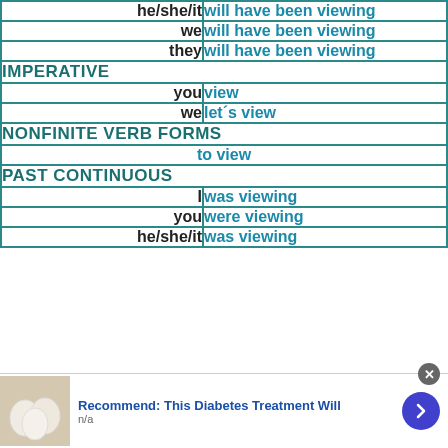| he/she/it | will have been viewing |
| we | will have been viewing |
| they | will have been viewing |
| IMPERATIVE |  |
| you | view |
| we | let´s view |
| NONFINITE VERB FORMS |  |
|  | to view |
| PAST CONTINUOUS |  |
| I | was viewing |
| you | were viewing |
| he/she/it | was viewing |